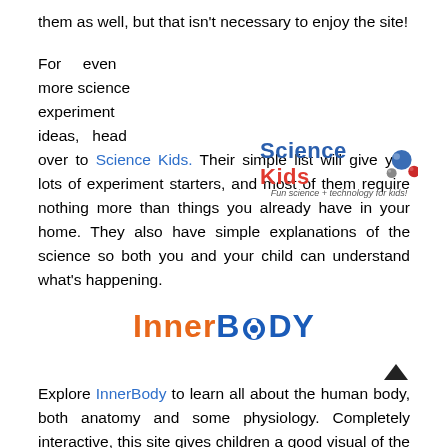them as well, but that isn't necessary to enjoy the site!
[Figure (logo): Science Kids logo with blue and red text 'Science Kids' and tagline 'Fun science + technology for kids!' with a molecule graphic]
For even more science experiment ideas, head over to Science Kids. Their simple list will give you lots of experiment starters, and most of them require nothing more than things you already have in your home. They also have simple explanations of the science so both you and your child can understand what's happening.
[Figure (logo): InnerBody logo in orange and blue bold text]
Explore InnerBody to learn all about the human body, both anatomy and some physiology. Completely interactive, this site gives children a good visual of the layers in our bodies,